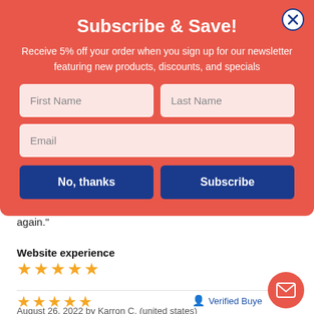Subscribe & Save!
Receive 5% off your order when you sign up for our newsletter featuring new products, discounts, and specials
First Name | Last Name | Email (form fields)
No, thanks | Subscribe (buttons)
product was excellent. I would definitely order from them again."
Website experience
★★★★★
★★★★★   Verified Buyer
August 26, 2022 by Karron C. (united states)